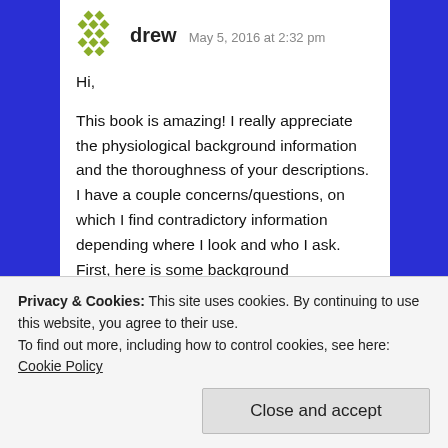[Figure (logo): Green diamond pattern avatar icon for user 'drew']
drew  May 5, 2016 at 2:32 pm
Hi,
This book is amazing! I really appreciate the physiological background information and the thoroughness of your descriptions. I have a couple concerns/questions, on which I find contradictory information depending where I look and who I ask. First, here is some background information. I've been climbing for 4 years, training mostly high volume endurance and power endurance for 1 year. Lots of 3x3s and 3x2s on routes and 4x4s on problems, and lots of TRX core work. I'm 5'10", 150 lbs, I climb 5.11 sport, 5.10 trad and boulder v4/5. I used to be a professional skateboarder so I've
Privacy & Cookies: This site uses cookies. By continuing to use this website, you agree to their use.
To find out more, including how to control cookies, see here: Cookie Policy
Close and accept